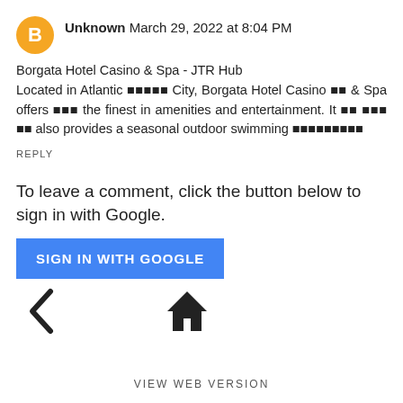Unknown March 29, 2022 at 8:04 PM
Borgata Hotel Casino & Spa - JTR Hub
Located in Atlantic 🀄🀄🀄🀄🀄 City, Borgata Hotel Casino 🀄🀄 & Spa offers 🀄🀄🀄 the finest in amenities and entertainment. It 🀄🀄 🀄🀄🀄 🀄🀄 also provides a seasonal outdoor swimming 🀄🀄🀄🀄🀄🀄🀄🀄🀄
REPLY
To leave a comment, click the button below to sign in with Google.
SIGN IN WITH GOOGLE
[Figure (other): Navigation icons: left arrow (back) and house (home)]
VIEW WEB VERSION